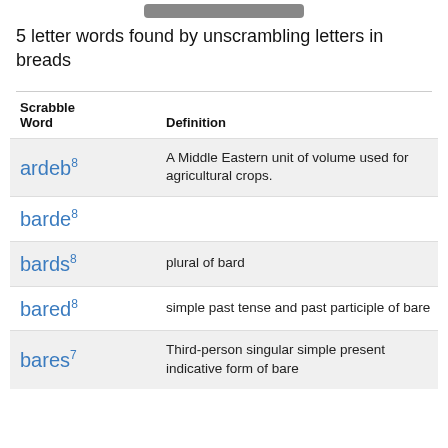5 letter words found by unscrambling letters in breads
| Scrabble Word | Definition |
| --- | --- |
| ardeb8 | A Middle Eastern unit of volume used for agricultural crops. |
| barde8 |  |
| bards8 | plural of bard |
| bared8 | simple past tense and past participle of bare |
| bares7 | Third-person singular simple present indicative form of bare |